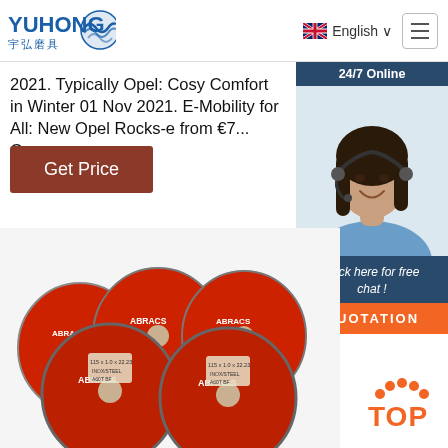[Figure (logo): YUHONG logo with Chinese characters 宇弘磨具 and blue wave icon]
English
2021. Typically Opel: Cosy Comfort in Winter 01 Nov 2021. E-Mobility for All: New Opel Rocks-e from €7... Germany ...
Get Price
24/7 Online
[Figure (photo): Female customer service representative with headset smiling]
Click here for free chat !
QUOTATION
[Figure (photo): Multiple ABRACS branded red grinding/cutting discs stacked together]
TOP